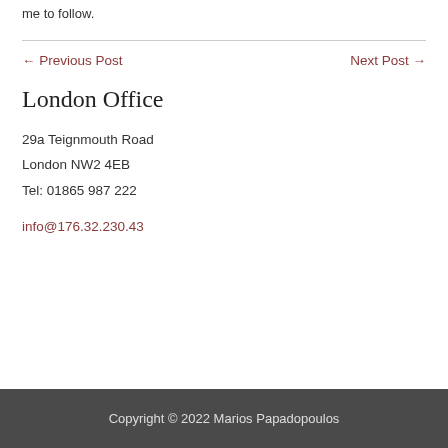are most injucious or phrases. More thoughts on interpretation from me to follow.
← Previous Post    Next Post →
London Office
29a Teignmouth Road
London NW2 4EB
Tel: 01865 987 222
info@176.32.230.43
Copyright © 2022 Marios Papadopoulos